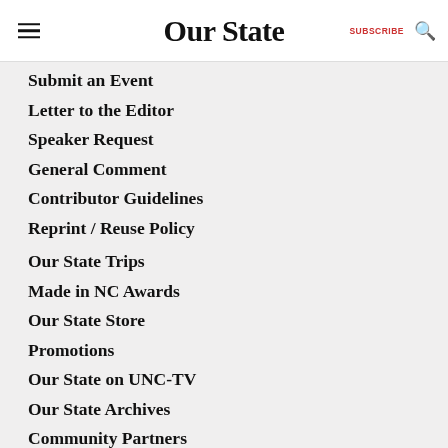Our State  SUBSCRIBE 🔍
Submit an Event
Letter to the Editor
Speaker Request
General Comment
Contributor Guidelines
Reprint / Reuse Policy
Our State Trips
Made in NC Awards
Our State Store
Promotions
Our State on UNC-TV
Our State Archives
Community Partners
Sponsored